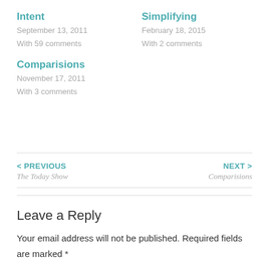Intent
September 13, 2011
With 59 comments
Simplifying
February 18, 2015
With 2 comments
Comparisions
November 17, 2011
With 3 comments
< PREVIOUS
The Today Show
NEXT >
Comparisions
Leave a Reply
Your email address will not be published. Required fields are marked *